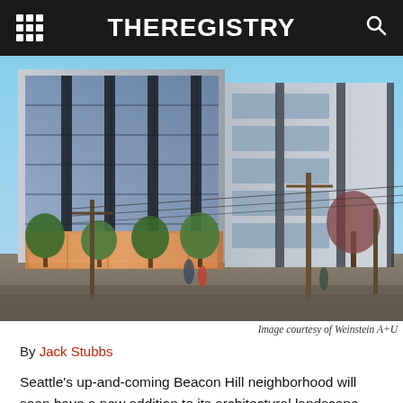THEREGISTRY
[Figure (photo): Architectural rendering of a 7-story modern mixed-use building in Seattle's Beacon Hill neighborhood, featuring glass curtain walls, dark accent panels, trees lining the street-level entrance, and utility poles with power lines in the foreground.]
Image courtesy of Weinstein A+U
By Jack Stubbs
Seattle’s up-and-coming Beacon Hill neighborhood will soon have a new addition to its architectural landscape with a 7-story, 67-unit